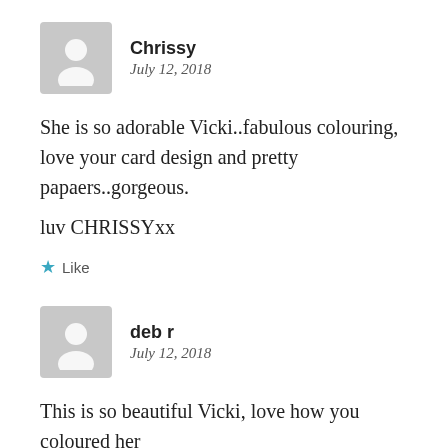[Figure (illustration): Gray avatar placeholder icon for user Chrissy]
Chrissy
July 12, 2018
She is so adorable Vicki..fabulous colouring, love your card design and pretty papaers..gorgeous.
luv CHRISSYxx
Like
[Figure (illustration): Gray avatar placeholder icon for user deb r]
deb r
July 12, 2018
This is so beautiful Vicki, love how you coloured her